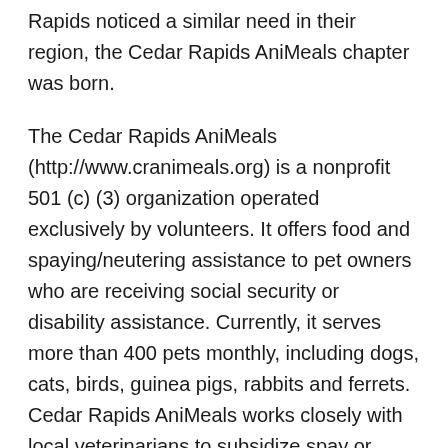Rapids noticed a similar need in their region, the Cedar Rapids AniMeals chapter was born.
The Cedar Rapids AniMeals (http://www.cranimeals.org) is a nonprofit 501 (c) (3) organization operated exclusively by volunteers. It offers food and spaying/neutering assistance to pet owners who are receiving social security or disability assistance. Currently, it serves more than 400 pets monthly, including dogs, cats, birds, guinea pigs, rabbits and ferrets. Cedar Rapids AniMeals works closely with local veterinarians to subsidize spay or neuter procedures for dogs and cats enrolled in the program.
Animal Support (http://www.animalsupport.org) is dedicated to addressing pet over-population and